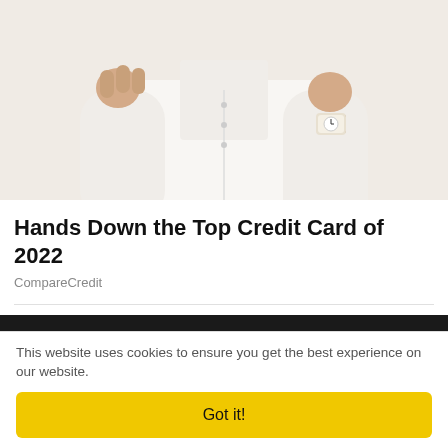[Figure (photo): A person wearing a white shirt and a watch, with hands raised near their face/neck area — partially cropped promotional image.]
Hands Down the Top Credit Card of 2022
CompareCredit
[Figure (photo): A hand holding a US $100 bill showing the back side. The bill displays 'THE UNITED STATES OF AMERICA', 'IN GOD WE TRUST', '100', 'ONE HUNDRED DOLLARS' text and the image of Independence Hall.]
This website uses cookies to ensure you get the best experience on our website.
Got it!